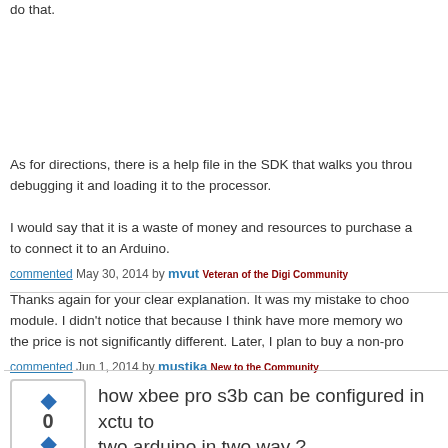do that.
As for directions, there is a help file in the SDK that walks you through debugging it and loading it to the processor.
I would say that it is a waste of money and resources to purchase a to connect it to an Arduino.
commented May 30, 2014 by mvut Veteran of the Digi Community
Thanks again for your clear explanation. It was my mistake to choose module. I didn't notice that because I think have more memory wo the price is not significantly different. Later, I plan to buy a non-pro
commented Jun 1, 2014 by mustika New to the Community
how xbee pro s3b can be configured in xctu to two arduino in two way ?